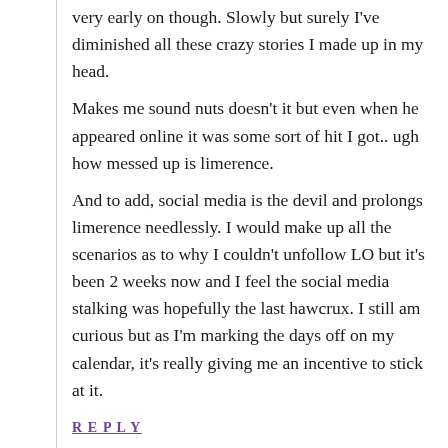very early on though. Slowly but surely I've diminished all these crazy stories I made up in my head.
Makes me sound nuts doesn't it but even when he appeared online it was some sort of hit I got.. ugh how messed up is limerence.
And to add, social media is the devil and prolongs limerence needlessly. I would make up all the scenarios as to why I couldn't unfollow LO but it's been 2 weeks now and I feel the social media stalking was hopefully the last hawcrux. I still am curious but as I'm marking the days off on my calendar, it's really giving me an incentive to stick at it.
REPLY